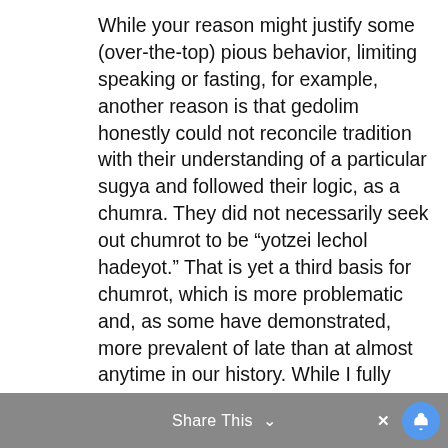While your reason might justify some (over-the-top) pious behavior, limiting speaking or fasting, for example, another reason is that gedolim honestly could not reconcile tradition with their understanding of a particular sugya and followed their logic, as a chumra. They did not necessarily seek out chumrot to be “yotzei lechol hadeyot.” That is yet a third basis for chumrot, which is more problematic and, as some have demonstrated, more prevalent of late than at almost anytime in our history. While I fully appreciate either of the first two reasons, particularly yours, the third, as i have been told by many who are so inclined, comes from a deeply held set of beliefs that I do not share.
Share This